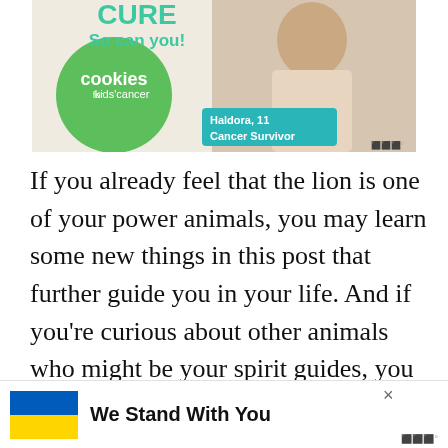[Figure (photo): Advertisement banner for 'Cookies for Kids Cancer' charity featuring text 'So can you!' in teal, a green circle with 'cookies for kids cancer' logo, and a teal box reading 'Haldora, 11 Cancer Survivor']
If you already feel that the lion is one of your power animals, you may learn some new things in this post that further guide you in your life. And if you're curious about other animals who might be your spirit guides, you can take a spirit animal
[Figure (infographic): Bottom banner ad with Ukrainian flag (blue and yellow) and text 'We Stand With You' with a close X button]